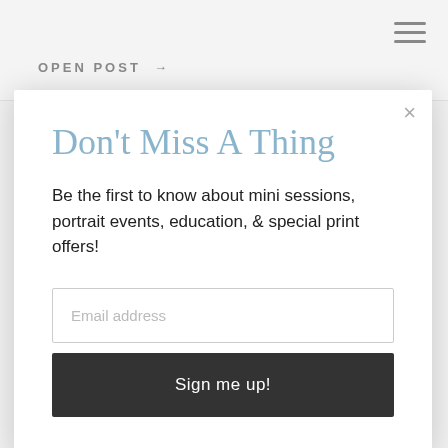OPEN POST →
Don't Miss A Thing
Be the first to know about mini sessions, portrait events, education, & special print offers!
Email address
Sign me up!
Virginia Family Photograph